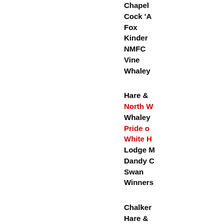Chapel
Cock 'A
Fox
Kinder
NMFC
Vine
Whaley
Hare &
North W
Whaley
Pride o
White H
Lodge M
Dandy C
Swan
Winners
Chalker
Hare &
Lodge M
NMFC
Pride o
Swan
White H